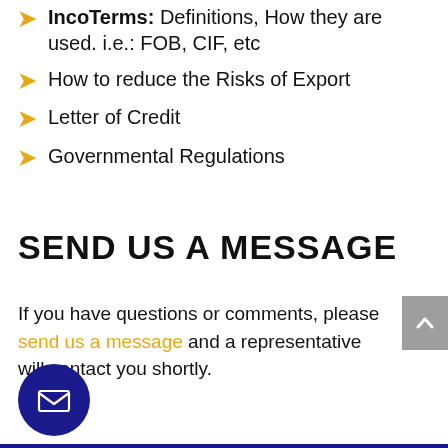IncoTerms: Definitions, How they are used. i.e.: FOB, CIF, etc
How to reduce the Risks of Export
Letter of Credit
Governmental Regulations
SEND US A MESSAGE
If you have questions or comments, please send us a message and a representative will contact you shortly.